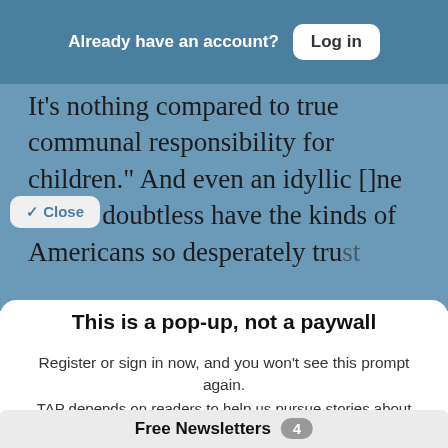Already have an account?  Log in
It's nothing compared to true communal responsibility for children." And even an idyllic [life] would doubtless have the kinds of [things] Americans so desperately trust
✓ Close
This is a pop-up, not a paywall
Register or sign in now, and you won't see this prompt again.
TAP depends on readers to help us pursue stories about IDEAS, POLITICS and POWER. If you have the ability to support independent journalism, your tax-deductible contribution will help keep this site free
Free Newsletters  4